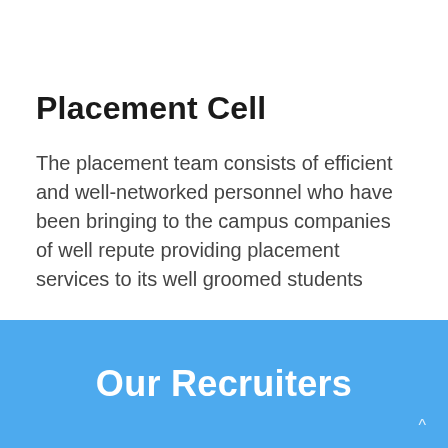Placement Cell
The placement team consists of efficient and well-networked personnel who have been bringing to the campus companies of well repute providing placement services to its well groomed students
Our Recruiters